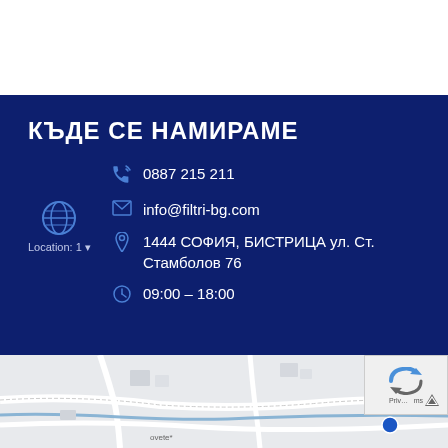КЪДЕ СЕ НАМИРАМЕ
0887 215 211
info@filtri-bg.com
1444 СОФИЯ, БИСТРИЦА ул. Ст. Стамболов 76
09:00 – 18:00
Location: 1
[Figure (map): Google Maps embed showing location near Бистрица, Sofia]